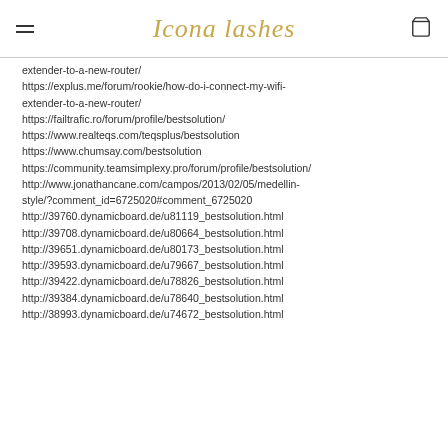Icona lashes
extender-to-a-new-router/
https://explus.me/forum/rookie/how-do-i-connect-my-wifi-extender-to-a-new-router/
https://failtrafic.ro/forum/profile/bestsolution/
https://www.realteqs.com/teqsplus/bestsolution
https://www.chumsay.com/bestsolution
https://community.teamsimplexy.pro/forum/profile/bestsolution/
http://www.jonathancane.com/campos/2013/02/05/medellin-style/?comment_id=6725020#comment_6725020
http://39760.dynamicboard.de/u81119_bestsolution.html
http://39708.dynamicboard.de/u80664_bestsolution.html
http://39651.dynamicboard.de/u80173_bestsolution.html
http://39593.dynamicboard.de/u79667_bestsolution.html
http://39422.dynamicboard.de/u78826_bestsolution.html
http://39384.dynamicboard.de/u78640_bestsolution.html
http://38993.dynamicboard.de/u74672_bestsolution.html